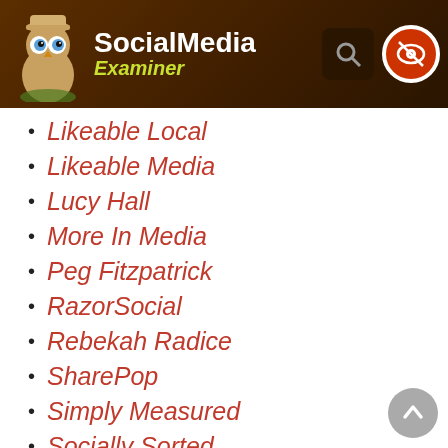Social Media Examiner
Likeable Local
Likeable Media
Lucy Hall
More In Media
Peg Fitzpatrick
RazorSocial
Rebekah Radice
SharePop
Simply Measured
Socially Sorted
Sprout Social
The Social Media Hat
Unmetric